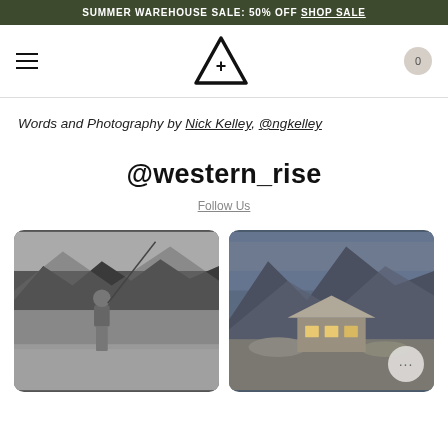SUMMER WAREHOUSE SALE: 50% OFF SHOP SALE
[Figure (logo): Western Rise triangle plus logo in navigation bar with hamburger menu and cart circle showing 0]
Words and Photography by Nick Kelley, @ngkelley
@western_rise
Follow Us
[Figure (photo): Black and white photo of a young man standing in a river holding a fishing rod with mountains and forest in the background]
[Figure (photo): Color photo of a small illuminated cabin or house at dusk with dramatic rocky mountains in the background under a blue cloudy sky]